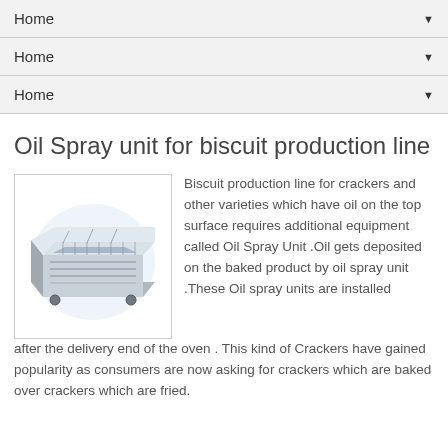Home
Home
Home
Oil Spray unit for biscuit production line
[Figure (photo): Industrial oil spray unit machine, metallic rectangular box-shaped equipment for biscuit production line]
Biscuit production line for crackers and other varieties which have oil on the top surface requires additional equipment called Oil Spray Unit .Oil gets deposited on the baked product by oil spray unit .These Oil spray units are installed after the delivery end of the oven . This kind of Crackers have gained popularity as consumers are now asking for crackers which are baked over crackers which are fried.